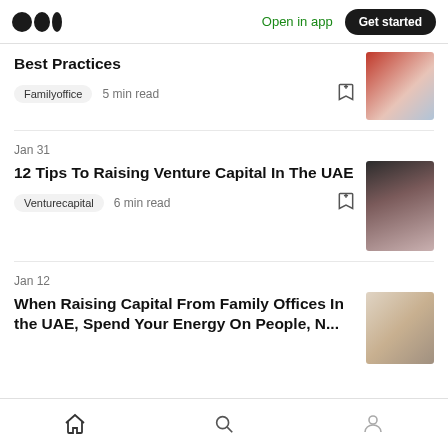Medium logo | Open in app | Get started
Best Practices
Familyoffice  5 min read
Jan 31
12 Tips To Raising Venture Capital In The UAE
Venturecapital  6 min read
Jan 12
When Raising Capital From Family Offices In the UAE, Spend Your Energy On People, N...
Home | Search | Profile